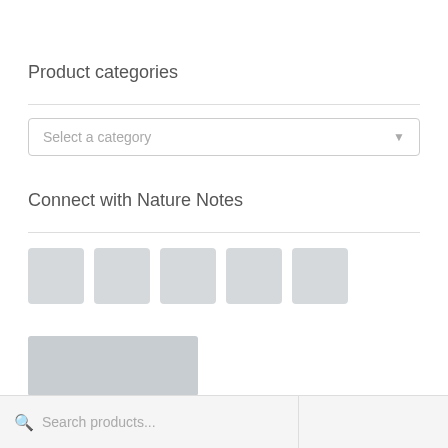Product categories
Select a category
Connect with Nature Notes
[Figure (other): Five grey placeholder social media icon boxes arranged horizontally]
[Figure (other): A grey rectangular placeholder bar]
Search products...